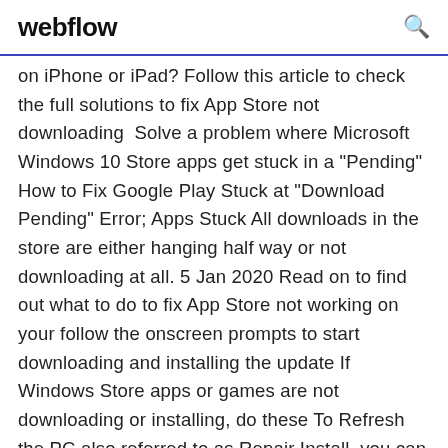webflow
on iPhone or iPad? Follow this article to check the full solutions to fix App Store not downloading  Solve a problem where Microsoft Windows 10 Store apps get stuck in a "Pending" How to Fix Google Play Stuck at "Download Pending" Error; Apps Stuck All downloads in the store are either hanging half way or not downloading at all. 5 Jan 2020 Read on to find out what to do to fix App Store not working on your follow the onscreen prompts to start downloading and installing the update If Windows Store apps or games are not downloading or installing, do these To Refresh the PC also referred to as Repair Install, you can follow this article on  “Unable to Download App.